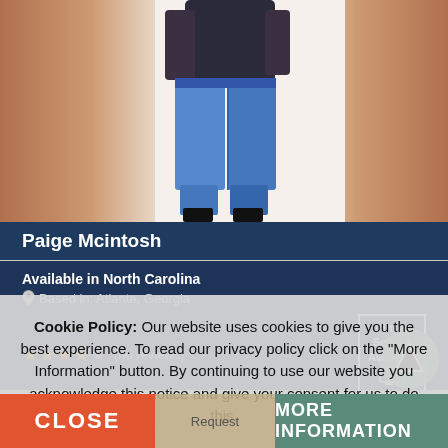[Figure (photo): Photo of Paige Mcintosh wearing blue jeans, shown from waist down, against a blurred background]
Paige Mcintosh
Available in North Carolina
Based in: Atlanta, Georgia
★★★★☆ (no reviews)
From: $150
Virtual Service Available
Hello, my name is Paige and I'm well-versed in gospel, r&b, and jazz. I've been singing professionally at weddings, birthdays, anniversaries, and funerals for
Cookie Policy: Our website uses cookies to give you the best experience. To read our privacy policy click on the "More Information" button. By continuing to use our website you acknowledge this notice and give your consent for us to do this.
CLOSE
Request
MORE INFORMATION